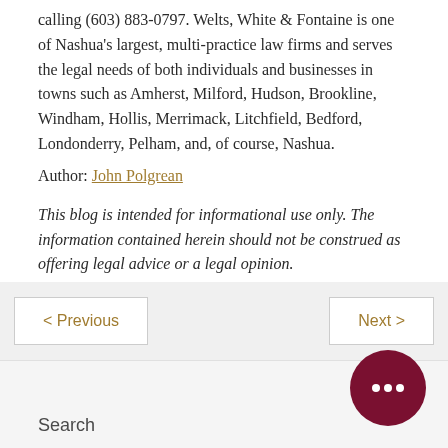calling (603) 883-0797. Welts, White & Fontaine is one of Nashua's largest, multi-practice law firms and serves the legal needs of both individuals and businesses in towns such as Amherst, Milford, Hudson, Brookline, Windham, Hollis, Merrimack, Litchfield, Bedford, Londonderry, Pelham, and, of course, Nashua.
Author: John Polgrean
This blog is intended for informational use only. The information contained herein should not be construed as offering legal advice or a legal opinion.
Tags: estate planning, transfer of assets, wills and trusts
< Previous
Next >
Search